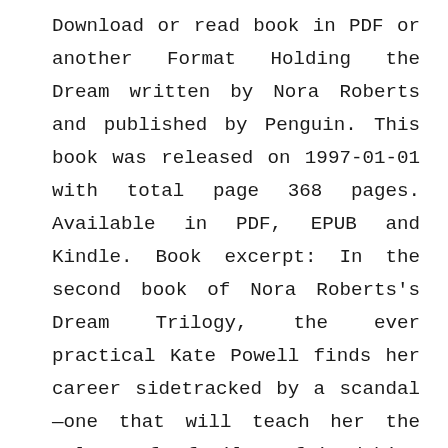Download or read book in PDF or another Format Holding the Dream written by Nora Roberts and published by Penguin. This book was released on 1997-01-01 with total page 368 pages. Available in PDF, EPUB and Kindle. Book excerpt: In the second book of Nora Roberts's Dream Trilogy, the ever practical Kate Powell finds her career sidetracked by a scandal—one that will teach her the value of family, friendship, and love... Surrounded by the sweeping cliffs and beauty of Big Sur, Kate Powell treasured both her life at Templeton House and the family who raised her like one of their own. Although Kate lacked Margo's